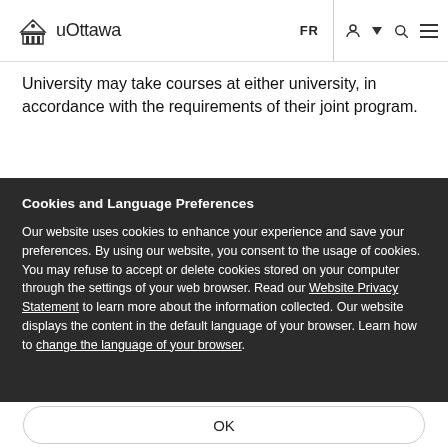uOttawa
University may take courses at either university, in accordance with the requirements of their joint program.
Cookies and Language Preferences
Our website uses cookies to enhance your experience and save your preferences. By using our website, you consent to the usage of cookies. You may refuse to accept or delete cookies stored on your computer through the settings of your web browser. Read our Website Privacy Statement to learn more about the information collected. Our website displays the content in the default language of your browser. Learn how to change the language of your browser.
OK